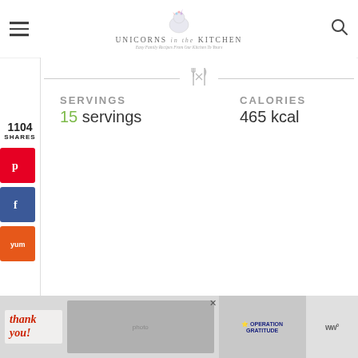Unicorns in the Kitchen — Easy Family Recipes From Our Kitchen To Yours
1104 SHARES
[Figure (other): Pinterest share button (red), Facebook share button (blue), Yummly share button (orange)]
SERVINGS
15 servings
CALORIES
465 kcal
[Figure (advertisement): Thank you Operation Gratitude advertisement banner with firefighters image and WW logo]